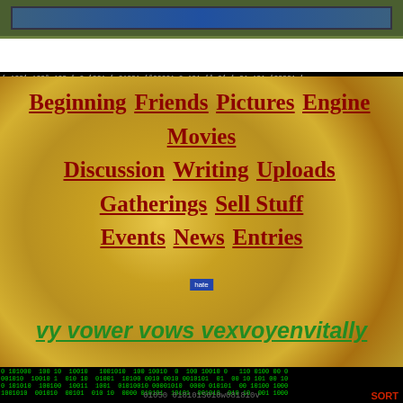[Figure (screenshot): Top banner with dark olive green background and blue gradient inner bar]
[Figure (screenshot): Binary code strip in white/grey text on black background]
Beginning Friends Pictures Engine Movies Discussion Writing Uploads Gatherings Sell Stuff Events News Entries
vy vower vows vexvoyenvitally
[Figure (screenshot): Social share icons: Add (plus), Facebook, Twitter, Mail]
[Figure (screenshot): Green binary matrix code on black background with overlay text]